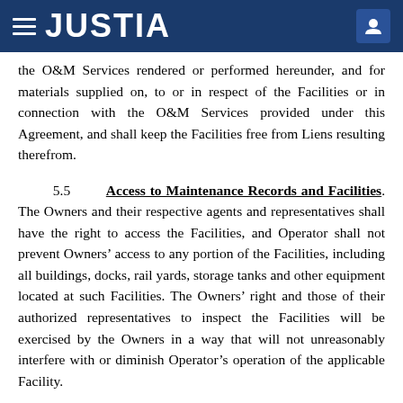JUSTIA
the O&M Services rendered or performed hereunder, and for materials supplied on, to or in respect of the Facilities or in connection with the O&M Services provided under this Agreement, and shall keep the Facilities free from Liens resulting therefrom.
5.5 Access to Maintenance Records and Facilities
The Owners and their respective agents and representatives shall have the right to access the Facilities, and Operator shall not prevent Owners' access to any portion of the Facilities, including all buildings, docks, rail yards, storage tanks and other equipment located at such Facilities. The Owners' right and those of their authorized representatives to inspect the Facilities will be exercised by the Owners in a way that will not unreasonably interfere with or diminish Operator's operation of the applicable Facility.